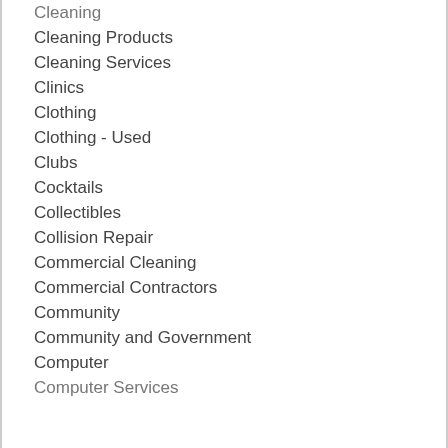Cleaning
Cleaning Products
Cleaning Services
Clinics
Clothing
Clothing - Used
Clubs
Cocktails
Collectibles
Collision Repair
Commercial Cleaning
Commercial Contractors
Community
Community and Government
Computer
Computer Services